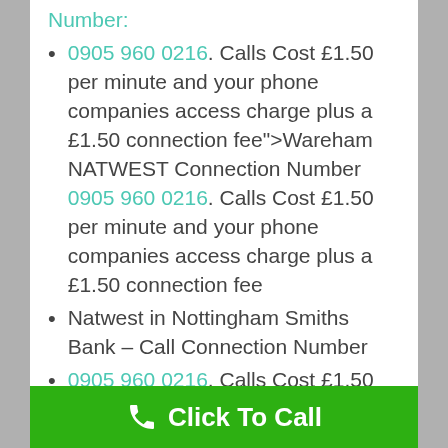0905 960 0216. Calls Cost £1.50 per minute and your phone companies access charge plus a £1.50 connection fee">Wareham NATWEST Connection Number 0905 960 0216. Calls Cost £1.50 per minute and your phone companies access charge plus a £1.50 connection fee
Natwest in Nottingham Smiths Bank – Call Connection Number
0905 960 0216. Calls Cost £1.50 per minute and your phone companies access charge plus a £1.50 connection fee">Neath NATWEST Connection Number 0905 960 0216. Calls Cost £1.50 per minute and your phone companies access charge plus a £1.50
Click To Call